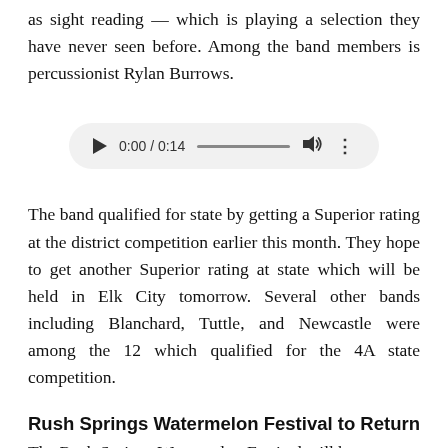as sight reading — which is playing a selection they have never seen before. Among the band members is percussionist Rylan Burrows.
[Figure (other): Audio player widget showing 0:00 / 0:14 with play button, progress bar, volume icon, and options menu]
The band qualified for state by getting a Superior rating at the district competition earlier this month. They hope to get another Superior rating at state which will be held in Elk City tomorrow. Several other bands including Blanchard, Tuttle, and Newcastle were among the 12 which qualified for the 4A state competition.
Rush Springs Watermelon Festival to Return
The Rush Springs Watermelon Festival will be...